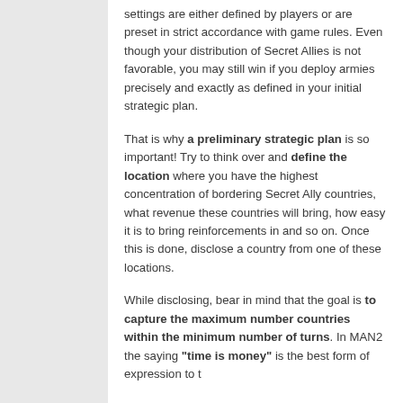settings are either defined by players or are preset in strict accordance with game rules. Even though your distribution of Secret Allies is not favorable, you may still win if you deploy armies precisely and exactly as defined in your initial strategic plan.
That is why a preliminary strategic plan is so important! Try to think over and define the location where you have the highest concentration of bordering Secret Ally countries, what revenue these countries will bring, how easy it is to bring reinforcements in and so on. Once this is done, disclose a country from one of these locations.
While disclosing, bear in mind that the goal is to capture the maximum number countries within the minimum number of turns. In MAN2 the saying "time is money" is the best form of expression to t...